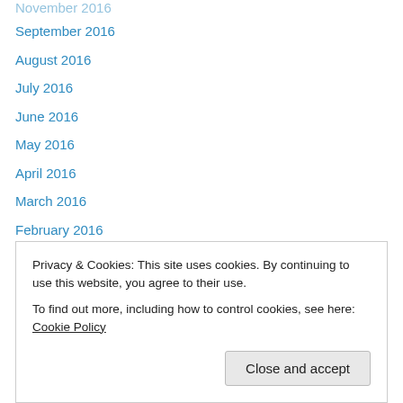September 2016
August 2016
July 2016
June 2016
May 2016
April 2016
March 2016
February 2016
December 2015
October 2015
August 2015
July 2015
June 2015
Privacy & Cookies: This site uses cookies. By continuing to use this website, you agree to their use.
To find out more, including how to control cookies, see here: Cookie Policy
Close and accept